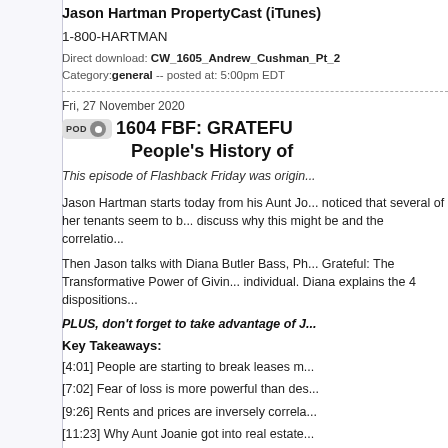Jason Hartman PropertyCast (iTunes)
1-800-HARTMAN
Direct download: CW_1605_Andrew_Cushman_Pt_2
Category: general -- posted at: 5:00pm EDT
Fri, 27 November 2020
1604 FBF: GRATEFU... People's History of...
This episode of Flashback Friday was origin...
Jason Hartman starts today from his Aunt Jo... noticed that several of her tenants seem to b... discuss why this might be and the correlatio...
Then Jason talks with Diana Butler Bass, Ph... Grateful: The Transformative Power of Givin... individual. Diana explains the 4 dispositions...
PLUS, don't forget to take advantage of J...
Key Takeaways:
[4:01] People are starting to break leases m...
[7:02] Fear of loss is more powerful than des...
[9:26] Rents and prices are inversely correla...
[11:23] Why Aunt Joanie got into real estate...
Diana Butler Bass Interview:
[16:15] Gratitude actually makes you healthi...